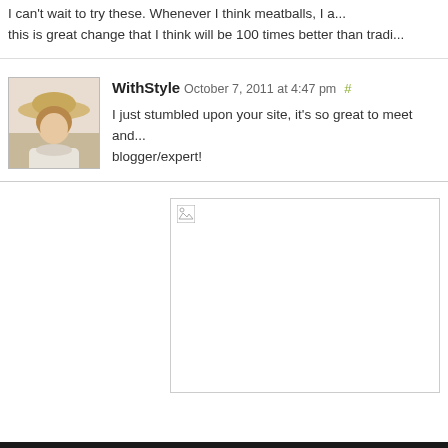I can't wait to try these. Whenever I think meatballs, I a... this is great change that I think will be 100 times better than tradi...
WithStyle October 7, 2011 at 4:47 pm #
I just stumbled upon your site, it's so great to meet and... blogger/expert!
[Figure (photo): Broken image placeholder with small icon in top-left corner]